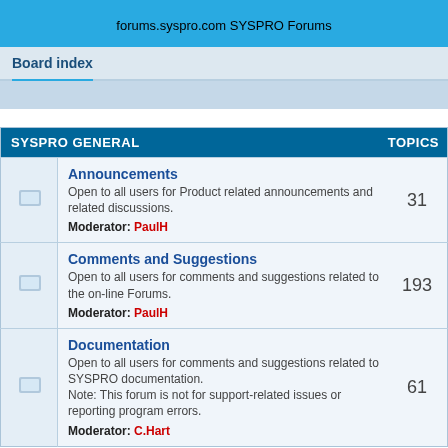forums.syspro.com
SYSPRO Forums
Board index
| SYSPRO GENERAL | TOPICS |
| --- | --- |
| Announcements
Open to all users for Product related announcements and related discussions.
Moderator: PaulH | 31 |
| Comments and Suggestions
Open to all users for comments and suggestions related to the on-line Forums.
Moderator: PaulH | 193 |
| Documentation
Open to all users for comments and suggestions related to SYSPRO documentation.
Note: This forum is not for support-related issues or reporting program errors.
Moderator: C.Hart | 61 |
| SYSPRO APP STORE | TOPICS |
| --- | --- |